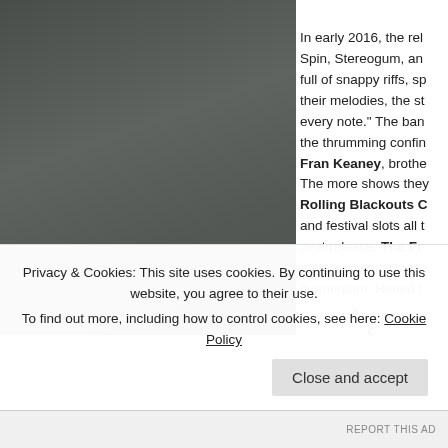[Figure (photo): Dark grey/charcoal torn or rough-edged photo area on the left side of the page]
In early 2016, the rel... Spin, Stereogum, an... full of snappy riffs, sp... their melodies, the st... every note." The ban... the thrumming confin... Fran Keaney, brothe... The more shows they... Rolling Blackouts C... and festival slots all t... next release. The Fr... melodies which curl a... momentum. Honed t... ch...
Privacy & Cookies: This site uses cookies. By continuing to use this website, you agree to their use. To find out more, including how to control cookies, see here: Cookie Policy
Close and accept